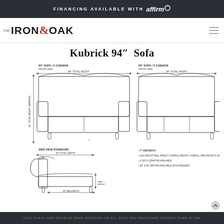FINANCING AVAILABLE WITH affirm
Iron & Oak
Kubrick 94" Sofa
[Figure (engineering-diagram): Technical engineering diagram of Kubrick 94 inch Sofa showing front views of 2-cushion and 3-cushion configurations and side view. Labels show: 94" Total Width, 41" Total Height (approx), 42" Total Depth, 25" Seat Depth. Notes: 7" Arm Width, Leg height will affect overall height, overall arm height & seat height, 2 or 3 cushions available, 38" & 46" depths available upon request.]
CALL TODAY AND RECEIVE FREE SHIPPING ON ALL SOFA AND SECTIONAL ORDERS OVER $1,999